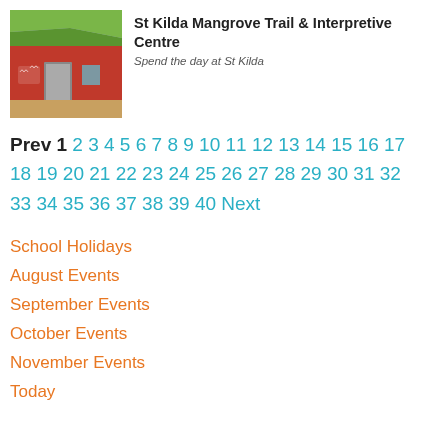[Figure (photo): Photo of St Kilda Mangrove Trail interpretive centre building exterior with red wall and green roof canopy]
St Kilda Mangrove Trail & Interpretive Centre
Spend the day at St Kilda
Prev 1 2 3 4 5 6 7 8 9 10 11 12 13 14 15 16 17 18 19 20 21 22 23 24 25 26 27 28 29 30 31 32 33 34 35 36 37 38 39 40 Next
School Holidays
August Events
September Events
October Events
November Events
Today